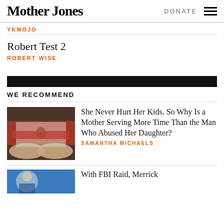Mother Jones | DONATE
YKMOJO
Robert Test 2
ROBERT WISE
WE RECOMMEND
[Figure (photo): Hands holding a photograph of a girl with a red stripe across it]
She Never Hurt Her Kids. So Why Is a Mother Serving More Time Than the Man Who Abused Her Daughter?
SAMANTHA MICHAELS
With FBI Raid, Merrick